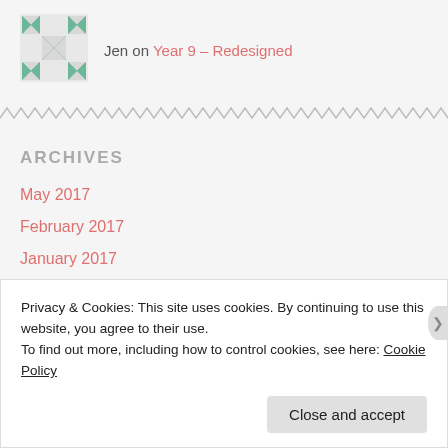[Figure (logo): Green geometric quilt-pattern logo square]
Jen on Year 9 – Redesigned
ARCHIVES
May 2017
February 2017
January 2017
August 2016
Privacy & Cookies: This site uses cookies. By continuing to use this website, you agree to their use.
To find out more, including how to control cookies, see here: Cookie Policy